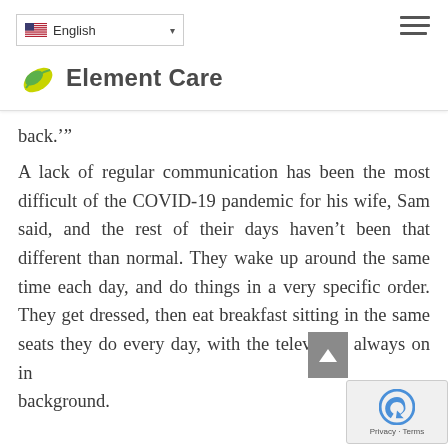Element Care — English language selector and navigation menu
back."'
A lack of regular communication has been the most difficult of the COVID-19 pandemic for his wife, Sam said, and the rest of their days haven't been that different than normal. They wake up around the same time each day, and do things in a very specific order. They get dressed, then eat breakfast sitting in the same seats they do every day, with the television always on in the background.